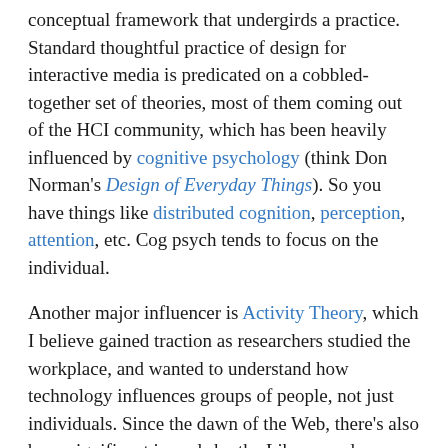...What is a theory? Theory is a broad conceptual framework that undergirds a practice. Standard thoughtful practice of design for interactive media is predicated on a cobbled-together set of theories, most of them coming out of the HCI community, which has been heavily influenced by cognitive psychology (think Don Norman's Design of Everyday Things). So you have things like distributed cognition, perception, attention, etc. Cog psych tends to focus on the individual.
Another major influencer is Activity Theory, which I believe gained traction as researchers studied the workplace, and wanted to understand how technology influences groups of people, not just individuals. Since the dawn of the Web, there's also been significant inroads by the Library and Information Science community (Information retrieval, metadata, etc.).